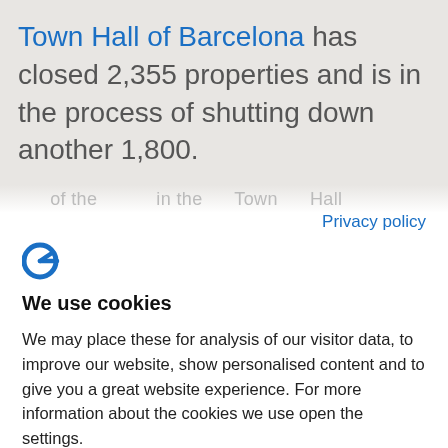Town Hall of Barcelona has closed 2,355 properties and is in the process of shutting down another 1,800.
Privacy policy
[Figure (logo): Cookiebot logo — blue stylized F/cookie icon]
We use cookies
We may place these for analysis of our visitor data, to improve our website, show personalised content and to give you a great website experience. For more information about the cookies we use open the settings.
Accept all
Deny
No, adjust